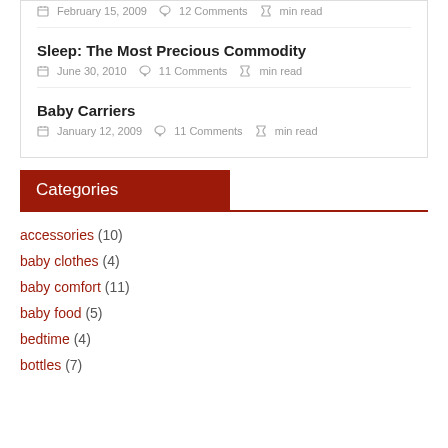February 15, 2009  12 Comments  min read
Sleep: The Most Precious Commodity
June 30, 2010  11 Comments  min read
Baby Carriers
January 12, 2009  11 Comments  min read
Categories
accessories (10)
baby clothes (4)
baby comfort (11)
baby food (5)
bedtime (4)
bottles (7)